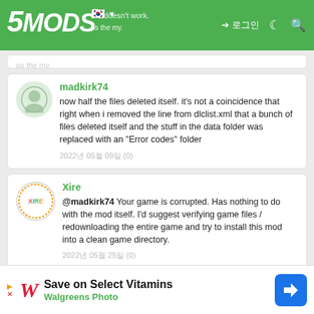5MODS — me doesn't work.
madkirk74
now half the files deleted itself. it's not a coincidence that right when i removed the line from dlclist.xml that a bunch of files deleted itself and the stuff in the data folder was replaced with an "Error codes" folder
2022년 05월 09일 (0)
Xire
@madkirk74 Your game is corrupted. Has nothing to do with the mod itself. I'd suggest verifying game files / redownloading the entire game and try to install this mod into a clean game directory.
2022년 05월 25일 (0)
DiabloGate47
Save on Select Vitamins
Walgreens Photo